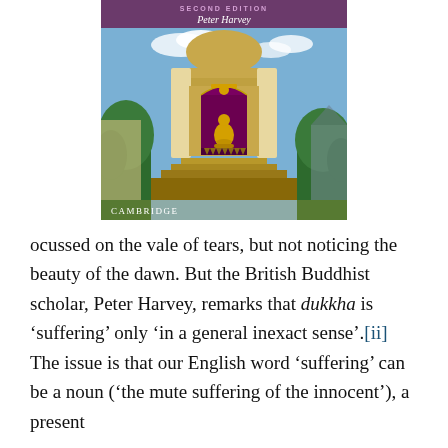[Figure (photo): Book cover of a Cambridge University Press publication, Second Edition, by Peter Harvey. Shows a golden Buddhist stupa/temple with an ornate purple-decorated niche containing a golden seated Buddha statue, with green trees on the sides and a blue sky background. The Cambridge logo appears at the bottom left.]
ocussed on the vale of tears, but not noticing the beauty of the dawn. But the British Buddhist scholar, Peter Harvey, remarks that dukkha is 'suffering' only 'in a general inexact sense'.[ii] The issue is that our English word 'suffering' can be a noun ('the mute suffering of the innocent'), a present